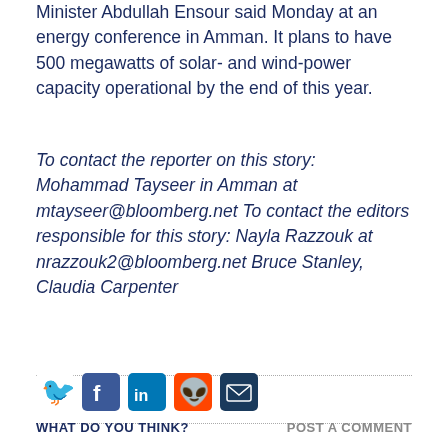Minister Abdullah Ensour said Monday at an energy conference in Amman. It plans to have 500 megawatts of solar- and wind-power capacity operational by the end of this year.
To contact the reporter on this story: Mohammad Tayseer in Amman at mtayseer@bloomberg.net To contact the editors responsible for this story: Nayla Razzouk at nrazzouk2@bloomberg.net Bruce Stanley, Claudia Carpenter
[Figure (other): Social media sharing icons: Twitter, Facebook, LinkedIn, Reddit, Email]
WHAT DO YOU THINK?
POST A COMMENT